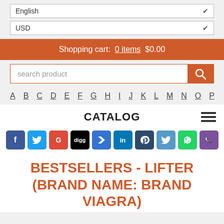English
USD
Shopping cart:  0 items  $0.00
search product
A  B  C  D  E  F  G  H  I  J  K  L  M  N  O  P
CATALOG
[Figure (other): Social sharing icons: Facebook, Twitter, Google+, Digg, Delicious, LinkedIn, Pinterest, Twitter, WhatsApp, Viber]
BESTSELLERS - LIFTER (BRAND NAME: BRAND VIAGRA)